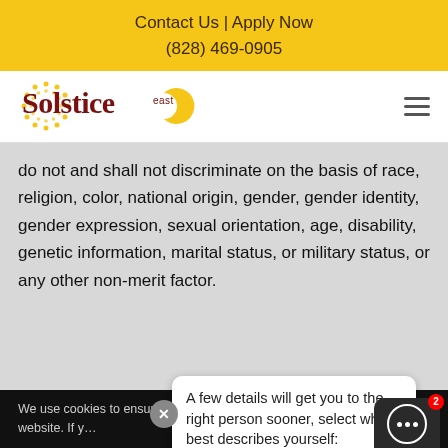Contact Us | Apply Now
(828) 469-0905
[Figure (logo): Solstice East logo with sun and moon graphic]
do not and shall not discriminate on the basis of race, religion, color, national origin, gender, gender identity, gender expression, sexual orientation, age, disability, genetic information, marital status, or military status, or any other non-merit factor.
We use cookies to ensure that we give you the best experience on our website. If y... that you
A few details will get you to the right person sooner, select which best describes yourself: